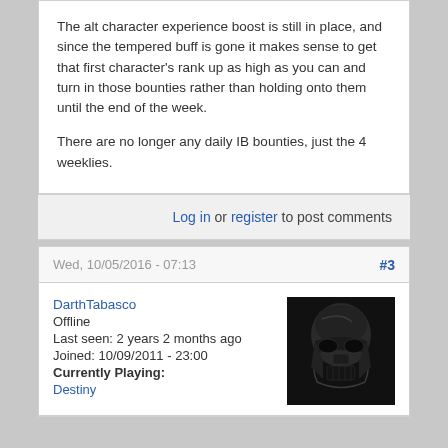The alt character experience boost is still in place, and since the tempered buff is gone it makes sense to get that first character's rank up as high as you can and turn in those bounties rather than holding onto them until the end of the week.

There are no longer any daily IB bounties, just the 4 weeklies.
Log in or register to post comments
Wed, 10/05/2016 - 07:13  #3
DarthTabasco
Offline
Last seen: 2 years 2 months ago
Joined: 10/09/2011 - 23:00
Currently Playing:
Destiny
[Figure (photo): Darth Vader helmet avatar image, dark metallic, black background]